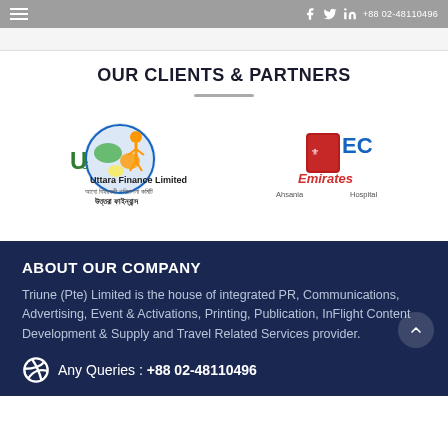Navigation bar with hamburger menu and social/phone icons
OUR CLIENTS & PARTNERS
[Figure (logo): Uttara Finance Limited logo with Bengali text and globe/figure icon]
[Figure (logo): CMEC / Ahsania Emirates Hospital logo with crescent and globe]
ABOUT OUR COMPANY
Triune (Pte) Limited is the house of integrated PR, Communications, Advertising, Event & Activations, Printing, Publication, InFlight Content Development & Supply and Travel Related Services provider.
Any Queries : +88 02-48110496